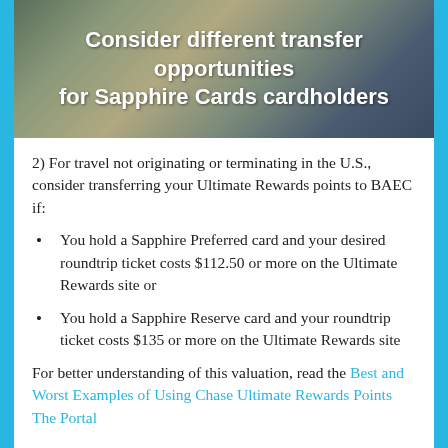[Figure (illustration): Hero banner with dark greenish-brown aerial/landscape background and bold white text overlay reading 'Consider different transfer opportunities for Sapphire Cards cardholders']
2) For travel not originating or terminating in the U.S., consider transferring your Ultimate Rewards points to BAEC if:
You hold a Sapphire Preferred card and your desired roundtrip ticket costs $112.50 or more on the Ultimate Rewards site or
You hold a Sapphire Reserve card and your roundtrip ticket costs $135 or more on the Ultimate Rewards site
For better understanding of this valuation, read the Best and Worst Examples of Using Chase Ultimate Rewards Points The Portal